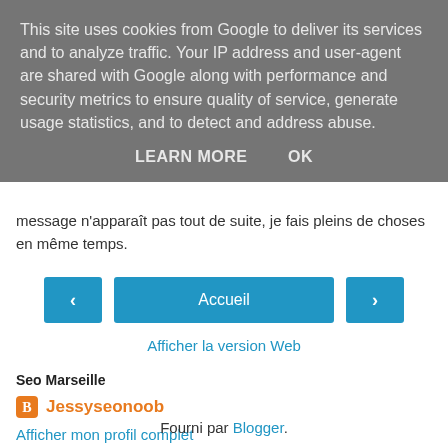This site uses cookies from Google to deliver its services and to analyze traffic. Your IP address and user-agent are shared with Google along with performance and security metrics to ensure quality of service, generate usage statistics, and to detect and address abuse.
LEARN MORE   OK
message n'apparaît pas tout de suite, je fais pleins de choses en même temps.
< Accueil >
Afficher la version Web
Seo Marseille
Jessyseonoob
Afficher mon profil complet
Fourni par Blogger.